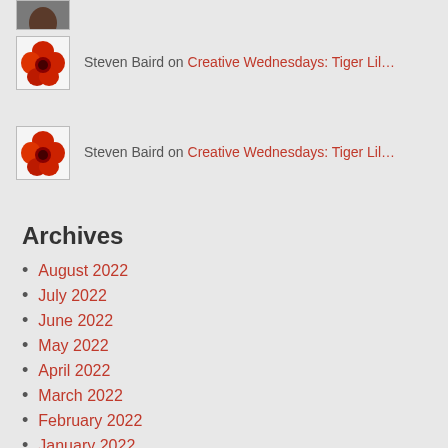[Figure (photo): Thumbnail of a person (partial, top of head) - avatar image]
Steven Baird on Creative Wednesdays: Tiger Lil…
[Figure (photo): Thumbnail of a red tiger lily or similar red flower - avatar image]
Steven Baird on Creative Wednesdays: Tiger Lil…
Archives
August 2022
July 2022
June 2022
May 2022
April 2022
March 2022
February 2022
January 2022